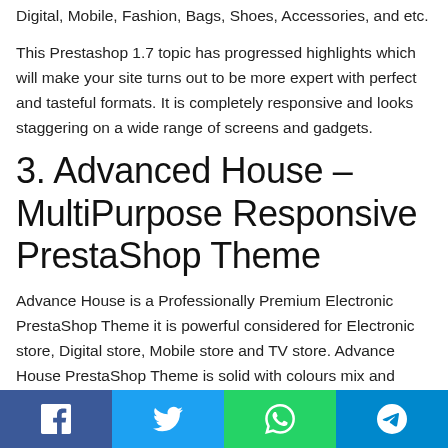Digital, Mobile, Fashion, Bags, Shoes, Accessories, and etc.
This Prestashop 1.7 topic has progressed highlights which will make your site turns out to be more expert with perfect and tasteful formats. It is completely responsive and looks staggering on a wide range of screens and gadgets.
3. Advanced House – MultiPurpose Responsive PrestaShop Theme
Advance House is a Professionally Premium Electronic PrestaShop Theme it is powerful considered for Electronic store, Digital store, Mobile store and TV store. Advance House PrestaShop Theme is solid with colours mix and design. Every